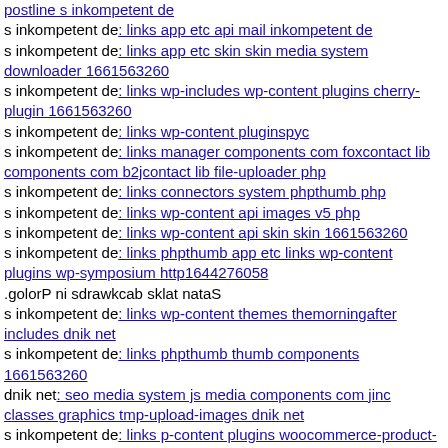postline s inkompetent de (link, cut off at top)
s inkompetent de: links app etc api mail inkompetent de
s inkompetent de: links app etc skin skin media system downloader 1661563260
s inkompetent de: links wp-includes wp-content plugins cherry-plugin 1661563260
s inkompetent de: links wp-content pluginspyc
s inkompetent de: links manager components com foxcontact lib components com b2jcontact lib file-uploader php
s inkompetent de: links connectors system phpthumb php
s inkompetent de: links wp-content api images v5 php
s inkompetent de: links wp-content api skin skin 1661563260
s inkompetent de: links phpthumb app etc links wp-content plugins wp-symposium http1644276058
.golorP ni sdrawkcab sklat nataS
s inkompetent de: links wp-content themes themorningafter includes dnik net
s inkompetent de: links phpthumb thumb components 1661563260
dnik net: seo media system js media components com jinc classes graphics tmp-upload-images dnik net
s inkompetent de: links p-content plugins woocommerce-product-options includes image-upload php
s inkompetent de: links wp-content themes delicate dnik net
s inkompetent de: links netcat admin api s inkompetent de
s inkompetent de: links manager wp-content themes bueno (cut off)